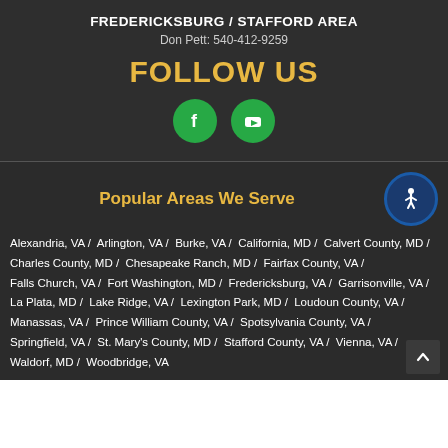FREDERICKSBURG / STAFFORD AREA
Don Pett: 540-412-9259
FOLLOW US
[Figure (illustration): Facebook and YouTube social media icons as white logos on green circles]
Popular Areas We Serve
Alexandria, VA / Arlington, VA / Burke, VA / California, MD / Calvert County, MD / Charles County, MD / Chesapeake Ranch, MD / Fairfax County, VA / Falls Church, VA / Fort Washington, MD / Fredericksburg, VA / Garrisonville, VA / La Plata, MD / Lake Ridge, VA / Lexington Park, MD / Loudoun County, VA / Manassas, VA / Prince William County, VA / Spotsylvania County, VA / Springfield, VA / St. Mary's County, MD / Stafford County, VA / Vienna, VA / Waldorf, MD / Woodbridge, VA